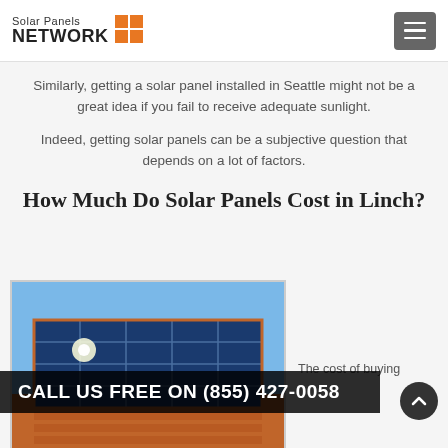Solar Panels NETWORK
Similarly, getting a solar panel installed in Seattle might not be a great idea if you fail to receive adequate sunlight.
Indeed, getting solar panels can be a subjective question that depends on a lot of factors.
How Much Do Solar Panels Cost in Linch?
[Figure (photo): Solar panels installed on an orange/terracotta tiled roof against a blue sky, with sunlight reflecting off the panels.]
The cost of buying
CALL US FREE ON (855) 427-0058